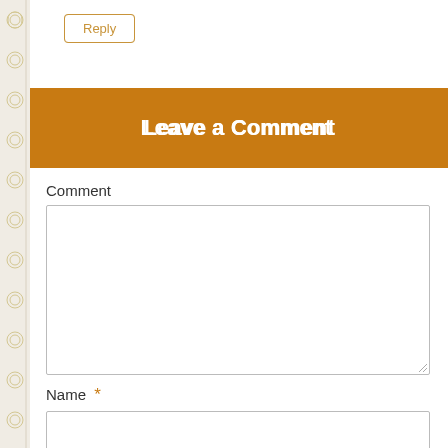Reply
Leave a Comment
Comment
Name *
Email *